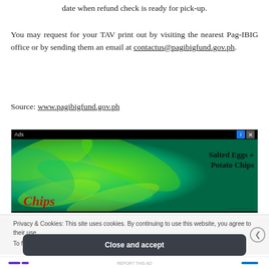date when refund check is ready for pick-up.
You may request for your TAV print out by visiting the nearest Pag-IBIG office or by sending them an email at contactus@pagibigfund.gov.ph.
Source: www.pagibigfund.gov.ph
[Figure (screenshot): Advertisement banner with green swirl background, showing 'Salted Eggs + Potato Chips' text and partial red stylized text. Black top bar with 'Ads' label and close/info controls.]
Privacy & Cookies: This site uses cookies. By continuing to use this website, you agree to their use. To find out more, including how to control cookies, see here: Cookie Policy
Close and accept